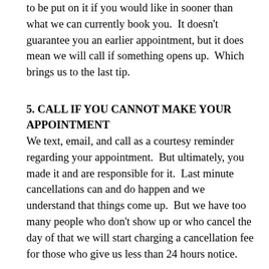to be put on it if you would like in sooner than what we can currently book you.  It doesn't guarantee you an earlier appointment, but it does mean we will call if something opens up.  Which brings us to the last tip.
5. CALL IF YOU CANNOT MAKE YOUR APPOINTMENT
We text, email, and call as a courtesy reminder regarding your appointment.  But ultimately, you made it and are responsible for it.  Last minute cancellations can and do happen and we understand that things come up.  But we have too many people who don't show up or who cancel the day of that we will start charging a cancellation fee for those who give us less than 24 hours notice.